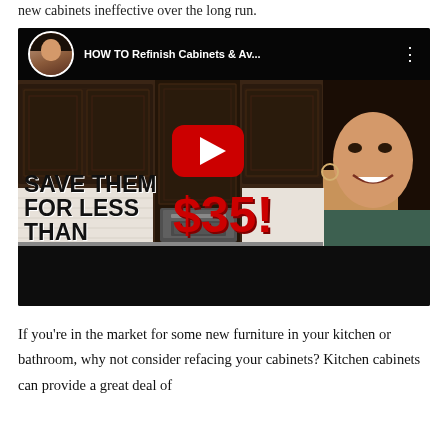new cabinets ineffective over the long run.
[Figure (screenshot): YouTube video thumbnail showing a woman pointing to text that reads 'HOW TO Refinish Cabinets & Av...' with kitchen cabinets in the background. Overlay text reads 'SAVE THEM FOR LESS THAN $35!' The YouTube play button is visible in the center.]
If you're in the market for some new furniture in your kitchen or bathroom, why not consider refacing your cabinets? Kitchen cabinets can provide a great deal of